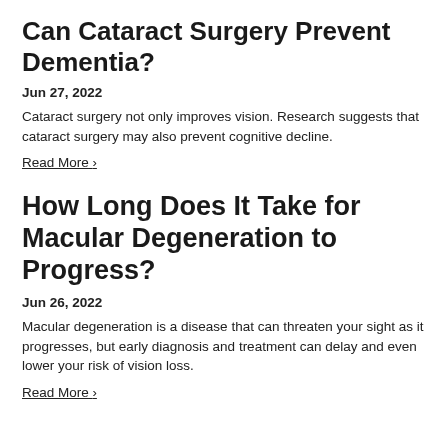Can Cataract Surgery Prevent Dementia?
Jun 27, 2022
Cataract surgery not only improves vision. Research suggests that cataract surgery may also prevent cognitive decline.
Read More ›
How Long Does It Take for Macular Degeneration to Progress?
Jun 26, 2022
Macular degeneration is a disease that can threaten your sight as it progresses, but early diagnosis and treatment can delay and even lower your risk of vision loss.
Read More ›